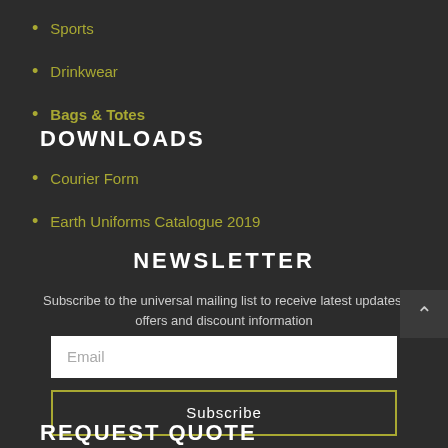Sports
Drinkwear
Bags & Totes
DOWNLOADS
Courier Form
Earth Uniforms Catalogue 2019
NEWSLETTER
Subscribe to the universal mailing list to receive latest updates, offers and discount information
Email
Subscribe
REQUEST QUOTE